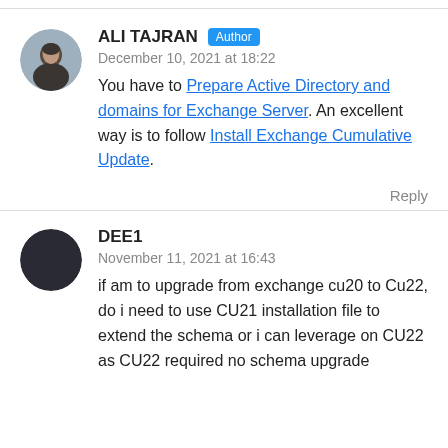ALI TAJRAN Author
December 10, 2021 at 18:22
You have to Prepare Active Directory and domains for Exchange Server. An excellent way is to follow Install Exchange Cumulative Update.
Reply
DEE1
November 11, 2021 at 16:43
if am to upgrade from exchange cu20 to Cu22, do i need to use CU21 installation file to extend the schema or i can leverage on CU22 as CU22 required no schema upgrade